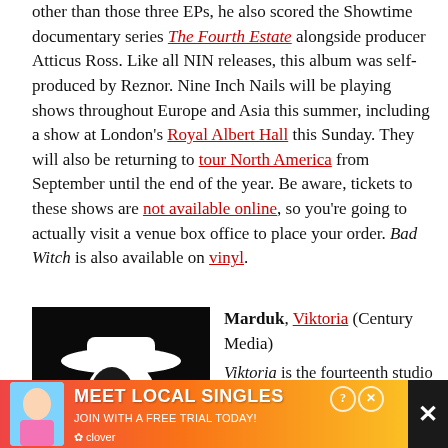other than those three EPs, he also scored the Showtime documentary series The Fourth Estate alongside producer Atticus Ross. Like all NIN releases, this album was self-produced by Reznor. Nine Inch Nails will be playing shows throughout Europe and Asia this summer, including a show at London's Royal Albert Hall this Sunday. They will also be returning to tour North America from September until the end of the year. Be aware, tickets to these shows are not available online, so you're going to actually visit a venue box office to place your order. Bad Witch is also available on vinyl.
[Figure (illustration): Marduk Viktoria album cover — black background with a high-contrast black and white image of a face with a hat, and 'VIKTORIA' in red text at the bottom]
Marduk, Viktoria (Century Media)
Viktoria is the fourteenth studio album from the Swedish black metal group Marduk. They have released a lyric video for the track "Werwolf." Last year the band caught some flak after being targeted by Antifa groups regarding their lyric content an accusations regarding the political beliefs of some of the band members...
[Figure (screenshot): Advertisement banner: Meet Local Singles - Join with a free trial today! (Clover app ad with a woman's photo, heart emojis, pink/orange gradient background). Has a help icon and close X button.]